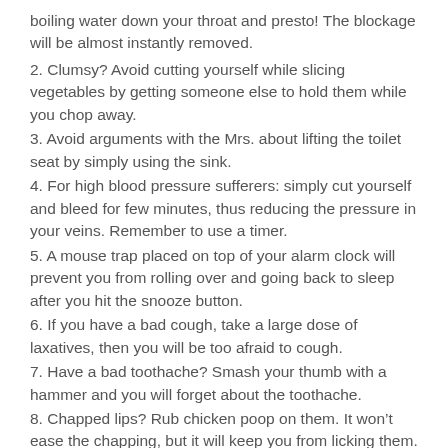boiling water down your throat and presto! The blockage will be almost instantly removed.
2. Clumsy? Avoid cutting yourself while slicing vegetables by getting someone else to hold them while you chop away.
3. Avoid arguments with the Mrs. about lifting the toilet seat by simply using the sink.
4. For high blood pressure sufferers: simply cut yourself and bleed for few minutes, thus reducing the pressure in your veins. Remember to use a timer.
5. A mouse trap placed on top of your alarm clock will prevent you from rolling over and going back to sleep after you hit the snooze button.
6. If you have a bad cough, take a large dose of laxatives, then you will be too afraid to cough.
7. Have a bad toothache? Smash your thumb with a hammer and you will forget about the toothache.
8. Chapped lips? Rub chicken poop on them. It won’t ease the chapping, but it will keep you from licking them.
9. Sometimes we just need to remember what the rules of life really are. You only need two tools: WD-40 and duct tape. If it doesn’t move and should, use the WD-40. If it shouldn’t move and does, use the duct tape.